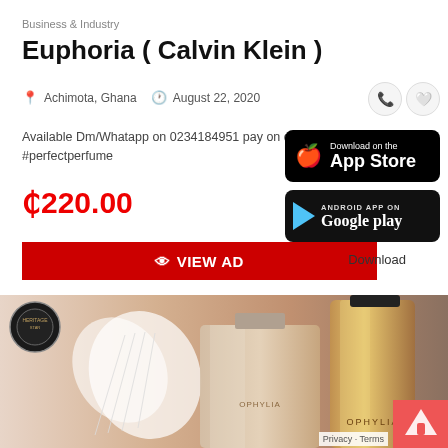Business & Industry
Euphoria ( Calvin Klein )
Achimota, Ghana   August 22, 2020
Available Dm/Whatapp on 0234184951 pay on delivery 🚗 #perfectperfume
₵220.00
👁 VIEW AD
[Figure (screenshot): App Store download button (black, iOS)]
[Figure (screenshot): Google Play Android app download button (black)]
Download
[Figure (photo): Photo of Ophylia perfume bottles with angel wings, pink box background]
Privacy · Terms